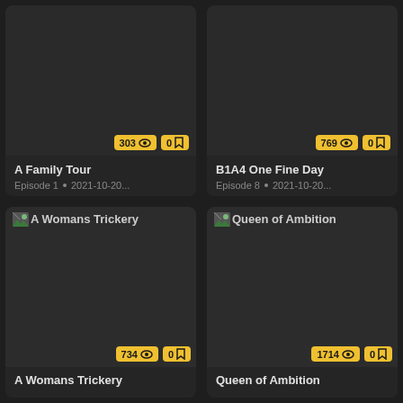[Figure (screenshot): Card for 'A Family Tour' showing 303 views, 0 bookmarks, Episode 1, 2021-10-20...]
[Figure (screenshot): Card for 'B1A4 One Fine Day' showing 769 views, 0 bookmarks, Episode 8, 2021-10-20...]
[Figure (screenshot): Card for 'A Womans Trickery' showing 734 views, 0 bookmarks, broken image thumbnail]
[Figure (screenshot): Card for 'Queen of Ambition' showing 1714 views, 0 bookmarks, broken image thumbnail]